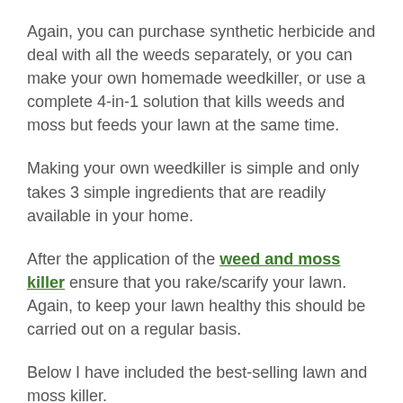Again, you can purchase synthetic herbicide and deal with all the weeds separately, or you can make your own homemade weedkiller, or use a complete 4-in-1 solution that kills weeds and moss but feeds your lawn at the same time.
Making your own weedkiller is simple and only takes 3 simple ingredients that are readily available in your home.
After the application of the weed and moss killer ensure that you rake/scarify your lawn. Again, to keep your lawn healthy this should be carried out on a regular basis.
Below I have included the best-selling lawn and moss killer.